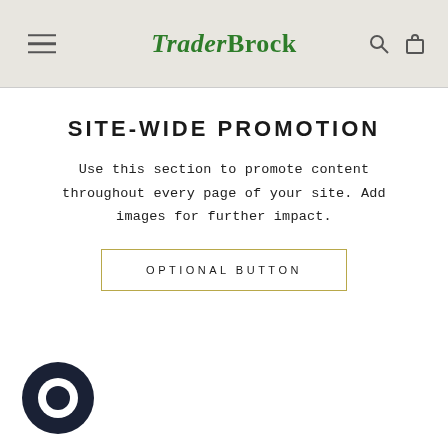TraderBrock
SITE-WIDE PROMOTION
Use this section to promote content throughout every page of your site. Add images for further impact.
OPTIONAL BUTTON
[Figure (logo): Chat bubble icon in dark navy color, positioned bottom left]